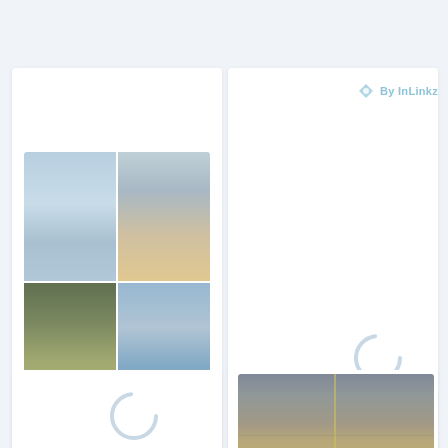By InLinkz
[Figure (photo): Grid of 4 landscape photos showing sky and water scenes]
VISIT LINK
1. Reflective Moments-Sky and Water
[Figure (other): Loading spinner circle]
VISIT LINK
2. Summer Escapades – Part 1-Dixie #Arranged Words
[Figure (photo): Road/highway photograph with yellow center line]
[Figure (other): Loading spinner circle]